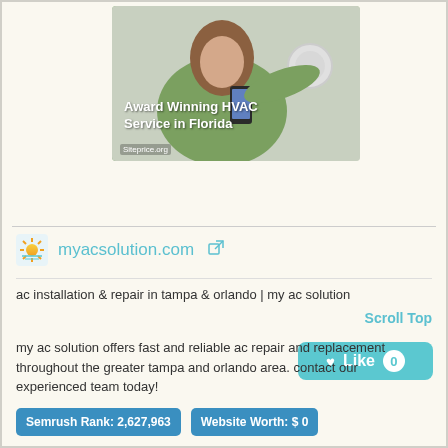[Figure (photo): Woman in green sweater adjusting smart thermostat with phone in hand. Text overlay reads 'Award Winning HVAC Service in Florida'. Watermark: Siteprice.org]
♥ Like 0
myacsolution.com ↗
ac installation & repair in tampa & orlando | my ac solution
Scroll Top
my ac solution offers fast and reliable ac repair and replacement throughout the greater tampa and orlando area. contact our experienced team today!
Semrush Rank: 2,627,963
Website Worth: $ 0